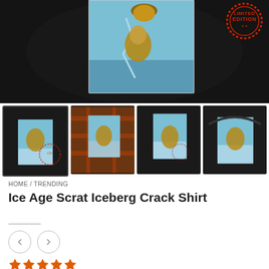[Figure (photo): Main product photo: person wearing a black t-shirt with Ice Age Scrat iceberg crack graphic print, with a red LIMITED EDITION stamp in the top right corner]
[Figure (photo): Four thumbnail product photos showing the Ice Age Scrat Iceberg Crack design on different garments: t-shirt (selected), long sleeve shirt, long sleeve on model, and hoodie]
HOME / TRENDING
Ice Age Scrat Iceberg Crack Shirt
[Figure (other): Two circular navigation arrow buttons (left and right)]
[Figure (other): Five orange/gold star rating icons]